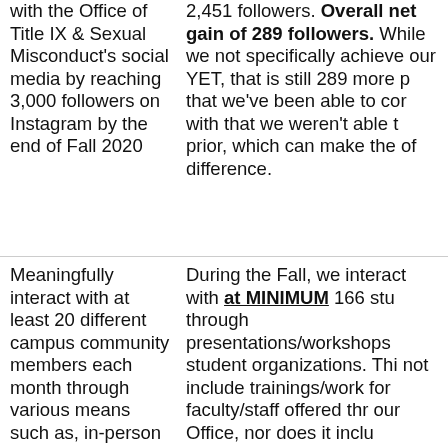with the Office of Title IX & Sexual Misconduct's social media by reaching 3,000 followers on Instagram by the end of Fall 2020
2,451 followers. Overall net gain of 289 followers. While we did not specifically achieve our goal YET, that is still 289 more people that we've been able to connect with that we weren't able to prior, which can make the world of difference.
Meaningfully interact with at least 20 different campus community members each month through various means such as, in-person (virtual)
During the Fall, we interacted with at MINIMUM 166 students through presentations/workshops to student organizations. This does not include trainings/workshops for faculty/staff offered through our Office, nor does it include interactions we've had with students when presenting during academic courses, or when collaborating with students 1:1 who may also be connected...